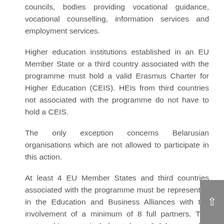councils, bodies providing vocational guidance, vocational counselling, information services and employment services.
Higher education institutions established in an EU Member State or a third country associated with the programme must hold a valid Erasmus Charter for Higher Education (CEIS). HEIs from third countries not associated with the programme do not have to hold a CEIS.
The only exception concerns Belarusian organisations which are not allowed to participate in this action.
At least 4 EU Member States and third countries associated with the programme must be represented in the Education and Business Alliances with the involvement of a minimum of 8 full partners. The partnership must include at least 3 labour market actors (companies or firms, or representative intermediary organisations and